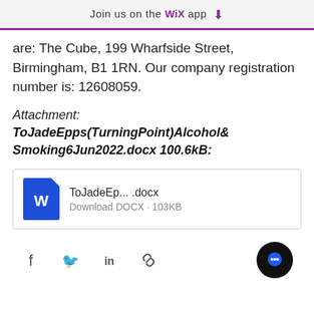Join us on the WiX app
are: The Cube, 199 Wharfside Street, Birmingham, B1 1RN. Our company registration number is: 12608059.
Attachment: ToJadeEpps(TurningPoint)Alcohol&Smoking6Jun2022.docx 100.6kB:
[Figure (other): Word document file card showing 'ToJadeEp... .docx' with Download DOCX · 103KB link]
Social share icons: Facebook, Twitter, LinkedIn, Link. Chat button.